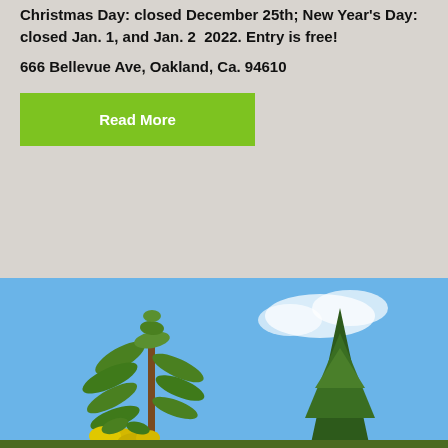Christmas Day: closed December 25th; New Year's Day: closed Jan. 1, and Jan. 2  2022. Entry is free!
666 Bellevue Ave, Oakland, Ca. 94610
Read More
[Figure (photo): Outdoor photo of plants and trees against a blue sky. On the left is a tall green plant with yellow flowers at the base, and on the right is a large dark green coniferous tree.]